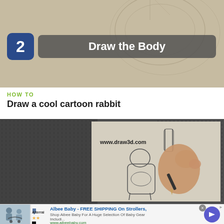[Figure (screenshot): Top banner showing step 2 'Draw the Body' overlay on a pencil sketch background with circular swirl lines]
HOW TO
Draw a cool cartoon rabbit
[Figure (screenshot): Video frame showing a hand drawing a cartoon rabbit body with a pencil on paper. www.draw3d.com watermark visible.]
[Figure (screenshot): Advertisement bar: Albee Baby - FREE SHIPPING On Strollers, Shop Albee Baby For A Huge Selection Of Baby Gear Includi... www.albeebaby.com with Alterrain thumbnail and blue arrow button]